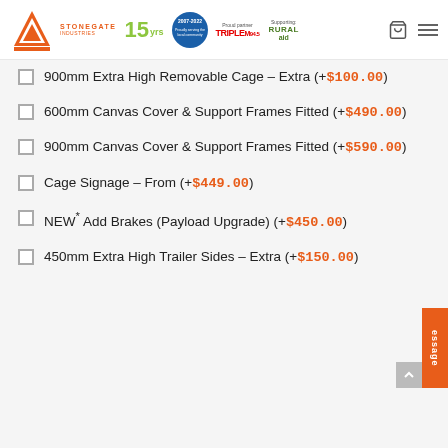Stonegate Industries — 15 yrs — Proud partner Triple M — Supporting Rural Aid
900mm Extra High Removable Cage – Extra (+$100.00)
600mm Canvas Cover & Support Frames Fitted (+$490.00)
900mm Canvas Cover & Support Frames Fitted (+$590.00)
Cage Signage – From (+$449.00)
NEW* Add Brakes (Payload Upgrade) (+$450.00)
450mm Extra High Trailer Sides – Extra (+$150.00)